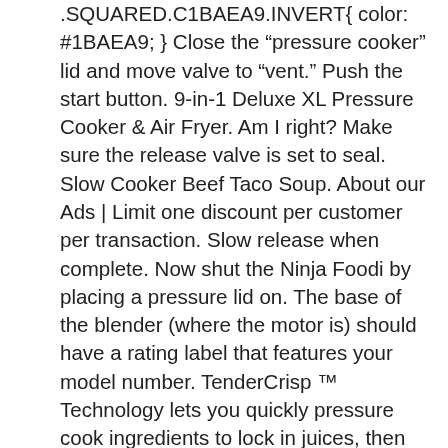.SQUARED.C1BAEA9.INVERT{ color: #1BAEA9; } Close the “pressure cooker” lid and move valve to “vent.” Push the start button. 9-in-1 Deluxe XL Pressure Cooker & Air Fryer. Am I right? Make sure the release valve is set to seal. Slow Cooker Beef Taco Soup. About our Ads | Limit one discount per customer per transaction. Slow release when complete. Now shut the Ninja Foodi by placing a pressure lid on. The base of the blender (where the motor is) should have a rating label that features your model number. TenderCrisp ™ Technology lets you quickly pressure cook ingredients to lock in juices, then give them a crispy, golden finish.. Deluxe cooking capacity - XL 8-qt. Once the milk has reached a boil, the Ninja Foodi Deluxe will beep and the screen will say “boil” on it. HELP Slow cook sear bake or steam all in one pot with our ninja multi cooker and slow cooker productsenjoy homemade recipes with ninja foodi pressure cookers. This Ninja Foodi cooker can do multiple cooking devices like